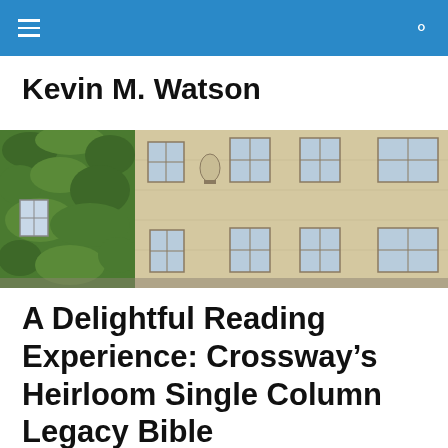Kevin M. Watson — site navigation bar
Kevin M. Watson
[Figure (photo): Photograph of a historic stone building facade with ivy-covered walls on the left side and multi-pane sash windows across upper and lower stories]
A Delightful Reading Experience: Crossway's Heirloom Single Column Legacy Bible